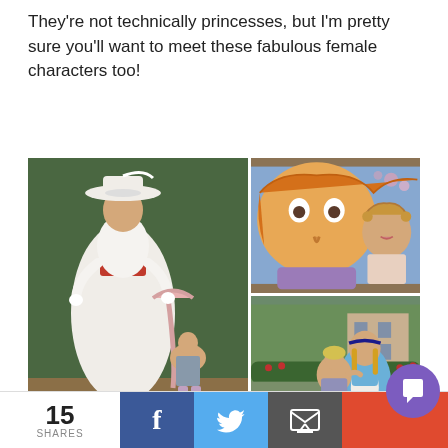They're not technically princesses, but I'm pretty sure you'll want to meet these fabulous female characters too!
[Figure (photo): Collage of three photos: left photo shows a child posing with Mary Poppins character in white dress and hat; top right photo shows a toddler kissing a cartoon-style princess character; bottom right photo shows a child hugging Alice in Wonderland character in blue dress, all at a Disney theme park.]
15 SHARES | Facebook share | Twitter share | Email share